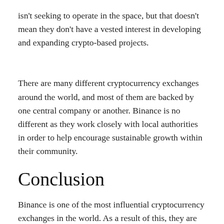isn't seeking to operate in the space, but that doesn't mean they don't have a vested interest in developing and expanding crypto-based projects.
There are many different cryptocurrency exchanges around the world, and most of them are backed by one central company or another. Binance is no different as they work closely with local authorities in order to help encourage sustainable growth within their community.
Conclusion
Binance is one of the most influential cryptocurrency exchanges in the world. As a result of this, they are heavily integrated into both the Bitcoin (BTC) and